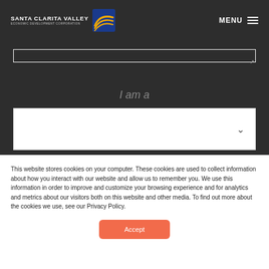SANTA CLARITA VALLEY ECONOMIC DEVELOPMENT CORPORATION — MENU
[Figure (logo): Santa Clarita Valley Economic Development Corporation logo with blue and gold wave icon]
I am a
This website stores cookies on your computer. These cookies are used to collect information about how you interact with our website and allow us to remember you. We use this information in order to improve and customize your browsing experience and for analytics and metrics about our visitors both on this website and other media. To find out more about the cookies we use, see our Privacy Policy.
Accept